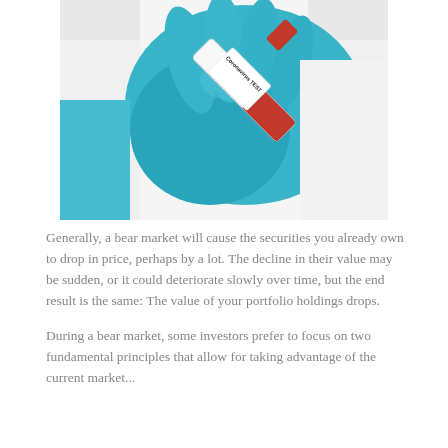[Figure (photo): A gloved hand wearing a blue latex glove holds a labeled medical test tube reading 'Coronavirus TEST' with a red cap, against a white lab coat background.]
Generally, a bear market will cause the securities you already own to drop in price, perhaps by a lot. The decline in their value may be sudden, or it could deteriorate slowly over time, but the end result is the same: The value of your portfolio holdings drops.
During a bear market, some investors prefer to focus on two fundamental principles that allow for taking advantage of the current market...